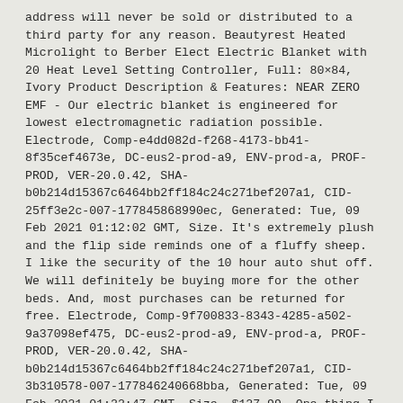address will never be sold or distributed to a third party for any reason. Beautyrest Heated Microlight to Berber Elect Electric Blanket with 20 Heat Level Setting Controller, Full: 80×84, Ivory Product Description & Features: NEAR ZERO EMF - Our electric blanket is engineered for lowest electromagnetic radiation possible. Electrode, Comp-e4dd082d-f268-4173-bb41-8f35cef4673e, DC-eus2-prod-a9, ENV-prod-a, PROF-PROD, VER-20.0.42, SHA-b0b214d15367c6464bb2ff184c24c271bef207a1, CID-25ff3e2c-007-177845868990ec, Generated: Tue, 09 Feb 2021 01:12:02 GMT, Size. It's extremely plush and the flip side reminds one of a fluffy sheep. I like the security of the 10 hour auto shut off. We will definitely be buying more for the other beds. And, most purchases can be returned for free. Electrode, Comp-9f700833-8343-4285-a502-9a37098ef475, DC-eus2-prod-a9, ENV-prod-a, PROF-PROD, VER-20.0.42, SHA-b0b214d15367c6464bb2ff184c24c271bef207a1, CID-3b310578-007-177846240668bba, Generated: Tue, 09 Feb 2021 01:22:47 GMT, Size. $127.99. One thing I like is,that we have started to convert many items in our home to Smart home.